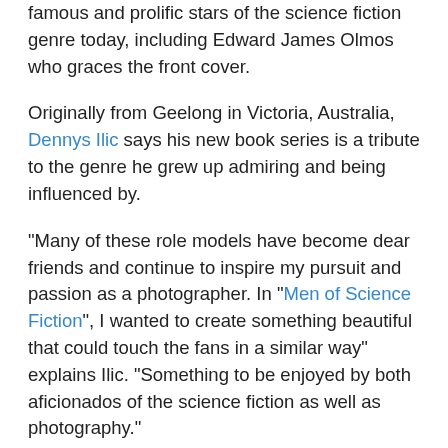famous and prolific stars of the science fiction genre today, including Edward James Olmos who graces the front cover.
Originally from Geelong in Victoria, Australia, Dennys Ilic says his new book series is a tribute to the genre he grew up admiring and being influenced by.
"Many of these role models have become dear friends and continue to inspire my pursuit and passion as a photographer. In "Men of Science Fiction", I wanted to create something beautiful that could touch the fans in a similar way" explains Ilic. "Something to be enjoyed by both aficionados of the science fiction as well as photography."
"Men of Science Fiction Vol. 1" will feature exquisite photography from actors of sci-fi television shows and movies including "Battlestar Galactica", "Star Trek", "Hemlock Grove", "The Flash", "Arrow", "Stargate", "Supernatural", "Agents of S.H.I.E.L.D", Avatar, "The Shannara Chronicles", "Sanctuary", World of Warcraft, "Falling Skies", "Caprica", Apollo 18, "Smallville", "Daredevil", Pacific Rim Uprising, Dirk Gently, Robot